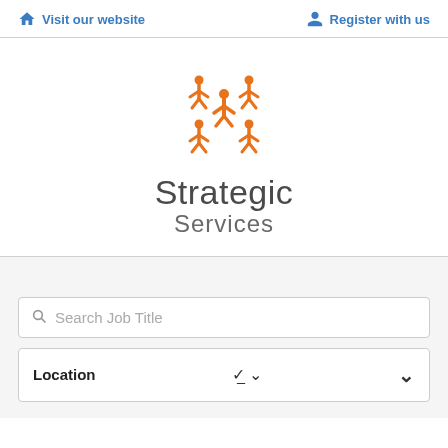Visit our website   Register with us
[Figure (logo): Strategic Services logo: orange interconnected figures icon above text 'Strategic Services']
Search Job Title
Location